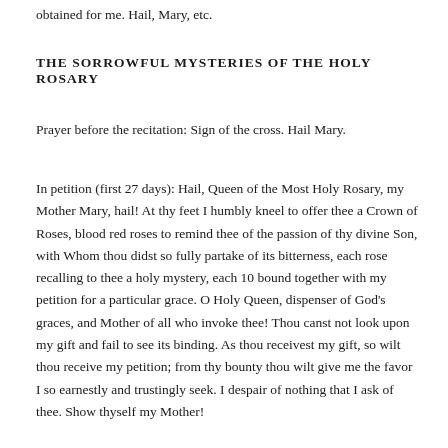obtained for me. Hail, Mary, etc.
THE SORROWFUL MYSTERIES OF THE HOLY ROSARY
Prayer before the recitation: Sign of the cross. Hail Mary.
In petition (first 27 days): Hail, Queen of the Most Holy Rosary, my Mother Mary, hail! At thy feet I humbly kneel to offer thee a Crown of Roses, blood red roses to remind thee of the passion of thy divine Son, with Whom thou didst so fully partake of its bitterness, each rose recalling to thee a holy mystery, each 10 bound together with my petition for a particular grace. O Holy Queen, dispenser of God’s graces, and Mother of all who invoke thee! Thou canst not look upon my gift and fail to see its binding. As thou receivest my gift, so wilt thou receive my petition; from thy bounty thou wilt give me the favor I so earnestly and trustingly seek. I despair of nothing that I ask of thee. Show thyself my Mother!